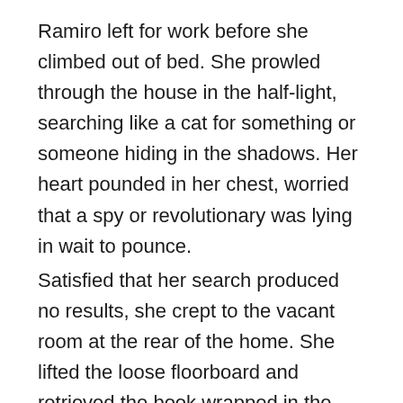Ramiro left for work before she climbed out of bed. She prowled through the house in the half-light, searching like a cat for something or someone hiding in the shadows. Her heart pounded in her chest, worried that a spy or revolutionary was lying in wait to pounce.
Satisfied that her search produced no results, she crept to the vacant room at the rear of the home. She lifted the loose floorboard and retrieved the book wrapped in the red cloth from its hiding spot. She unwrapped the wool, almost forgetting to breathe, and revealed the wine-colored, leather bound book. The gold letters of the title reminded her of the lettering on the Bible, except it read:
THE LAST LOVE LETTER